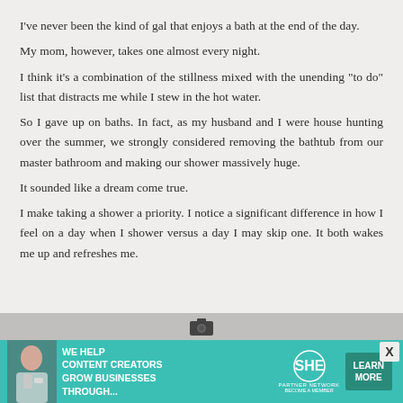I've never been the kind of gal that enjoys a bath at the end of the day.
My mom, however, takes one almost every night.
I think it's a combination of the stillness mixed with the unending "to do" list that distracts me while I stew in the hot water.
So I gave up on baths. In fact, as my husband and I were house hunting over the summer, we strongly considered removing the bathtub from our master bathroom and making our shower massively huge.
It sounded like a dream come true.
I make taking a shower a priority. I notice a significant difference in how I feel on a day when I shower versus a day I may skip one. It both wakes me up and refreshes me.
[Figure (infographic): Advertisement banner for SHE Media Partner Network reading: WE HELP CONTENT CREATORS GROW BUSINESSES THROUGH... with a LEARN MORE button]